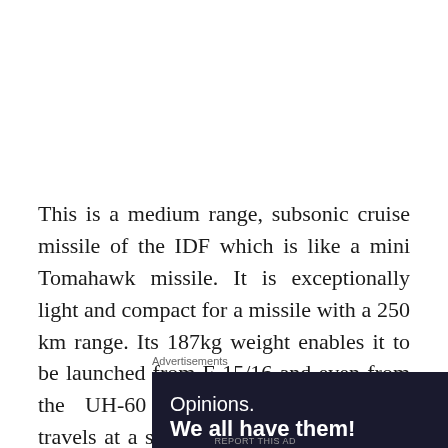This is a medium range, subsonic cruise missile of the IDF which is like a mini Tomahawk missile. It is exceptionally light and compact for a missile with a 250 km range. Its 187kg weight enables it to be launched from F-15/16 and even from the UH-60 Helicopters. The missile travels at a speed of Mach 0.3-0.7 and is accurate enough to be used to destroy enemy air defense sites with 1m error. This is due to
Advertisements
[Figure (other): Advertisement banner with dark navy background showing 'Opinions. We all have them!' text with WordPress and SN logos on the right]